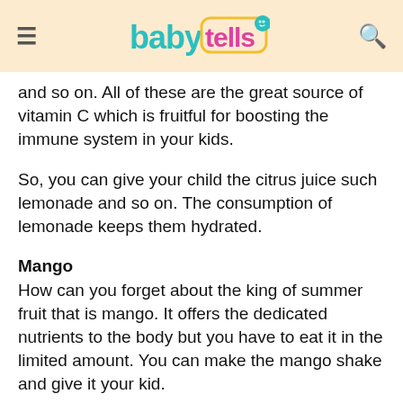baby tells
and so on. All of these are the great source of vitamin C which is fruitful for boosting the immune system in your kids.
So, you can give your child the citrus juice such lemonade and so on. The consumption of lemonade keeps them hydrated.
Mango
How can you forget about the king of summer fruit that is mango. It offers the dedicated nutrients to the body but you have to eat it in the limited amount. You can make the mango shake and give it your kid.
These are the best summer fruits which you can give it your child. You can either give them to eat or